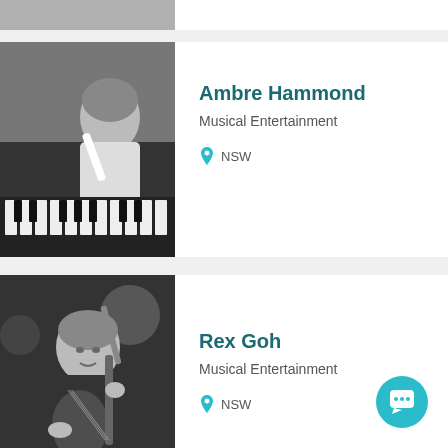[Figure (photo): Partial black-and-white photo cropped at top]
[Figure (photo): Black-and-white photo of Ambre Hammond playing piano]
Ambre Hammond
Musical Entertainment
NSW
[Figure (photo): Black-and-white photo of Rex Goh playing guitar]
Rex Goh
Musical Entertainment
NSW